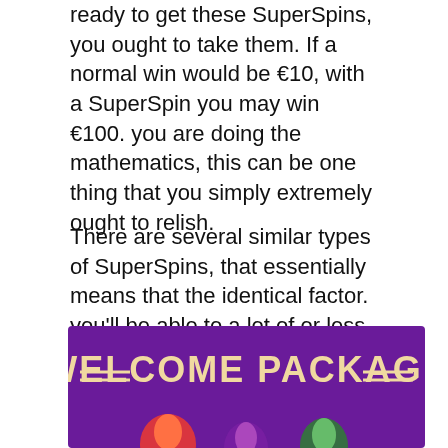ready to get these SuperSpins, you ought to take them. If a normal win would be €10, with a SuperSpin you may win €100. you are doing the mathematics, this can be one thing that you simply extremely ought to relish.
There are several similar types of SuperSpins, that essentially means that the identical factor. you'll be able to a lot of or less say that casinos are "branding" their own reasonably spin. MegaSpin is one in every of the names you may realize whereas making an attempt out new online casino uk within the world. during this approach, you may feel chosen and wish to gamble on a specific gambling web site. no matter they value more highly to decision them, our recommendation is to undertake it out.
[Figure (illustration): Purple welcome package banner with decorative horizontal lines on either side of the text '= WELCOME PACKAGE =' in a bold tan/beige font, with colorful icons visible at the bottom]